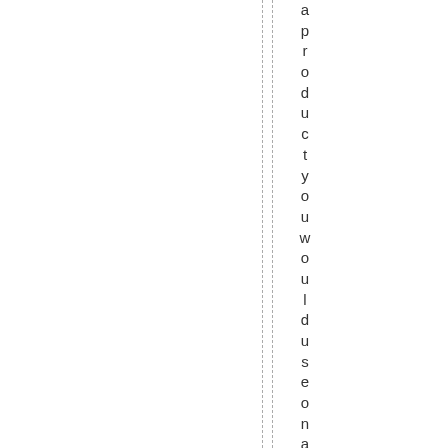a product you would use on a regular b